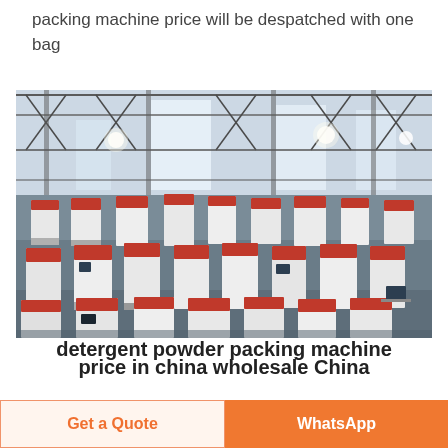packing machine price will be despatched with one bag
[Figure (photo): Interior of a large factory/warehouse filled with rows of red and white packing machines on a factory floor, with a steel truss roof structure visible above.]
detergent powder packing machine
price in china wholesale China...
Get a Quote | WhatsApp